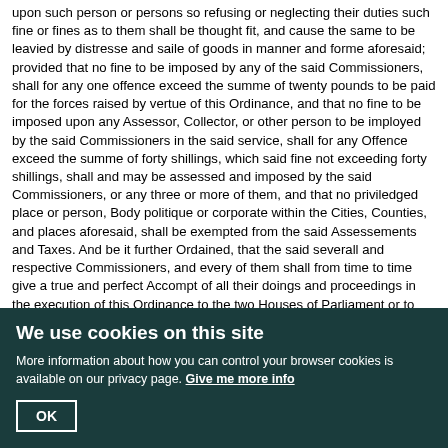upon such person or persons so refusing or neglecting their duties such fine or fines as to them shall be thought fit, and cause the same to be leavied by distresse and saile of goods in manner and forme aforesaid; provided that no fine to be imposed by any of the said Commissioners, shall for any one offence exceed the summe of twenty pounds to be paid for the forces raised by vertue of this Ordinance, and that no fine to be imposed upon any Assessor, Collector, or other person to be imployed by the said Commissioners in the said service, shall for any Offence exceed the summe of forty shillings, which said fine not exceeding forty shillings, shall and may be assessed and imposed by the said Commissioners, or any three or more of them, and that no priviledged place or person, Body politique or corporate within the Cities, Counties, and places aforesaid, shall be exempted from the said Assessements and Taxes. And be it further Ordained, that the said severall and respective Commissioners, and every of them shall from time to time give a true and perfect Accompt of all their doings and proceedings in the execution of this Ordinance to the two Houses of Parliament or to such persons as they shall appoint, Provided alwaies that such rates and assessments that shall be made by vertue of this Ordinance upon any Peeres, Members, Assistants, or Attendants upon either of the Houses of Parliament, for any Rate or Tax made within the Cities of London and Westminster or
We use cookies on this site
More information about how you can control your browser cookies is available on our privacy page. Give me more info
OK